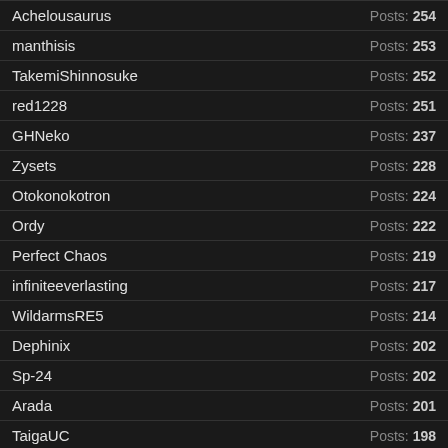Achelousaurus — Posts: 254
manthisis — Posts: 253
TakemiShinnosuke — Posts: 252
red1228 — Posts: 251
GHNeko — Posts: 237
Zysets — Posts: 228
Otokonokotron — Posts: 224
Ordy — Posts: 222
Perfect Chaos — Posts: 219
infiniteeverlasting — Posts: 217
WildarmsRE5 — Posts: 214
Dephinix — Posts: 202
Sp-24 — Posts: 202
Arada — Posts: 201
TaigaUC — Posts: 198
ralf542 — Posts: 195
Flaoc — Posts: 190